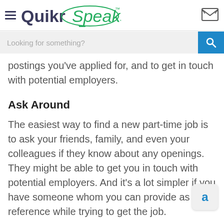QuikrSpeaks
Looking for something?
postings you've applied for, and to get in touch with potential employers.
Ask Around
The easiest way to find a new part-time job is to ask your friends, family, and even your colleagues if they know about any openings. They might be able to get you in touch with potential employers. And it's a lot simpler if you have someone whom you can provide as reference while trying to get the job.